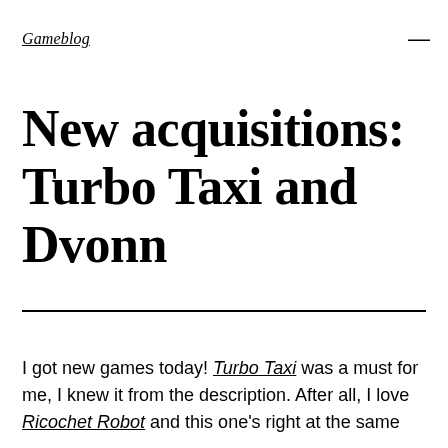Gameblog
New acquisitions: Turbo Taxi and Dvonn
I got new games today! Turbo Taxi was a must for me, I knew it from the description. After all, I love Ricochet Robot and this one's right at the same